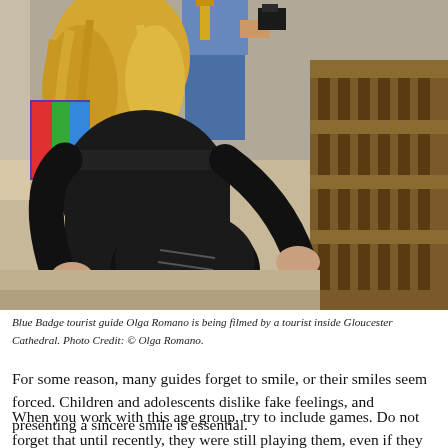[Figure (photo): Blue Badge tourist guide Olga Romano being filmed by a tourist inside Gloucester Cathedral. A person with long blonde hair and a black jacket crouches, holding a large black shoe or boot. Another person stands behind holding a camera. Wooden pews and stone architecture visible in background.]
Blue Badge tourist guide Olga Romano is being filmed by a tourist inside Gloucester Cathedral. Photo Credit: © Olga Romano.
For some reason, many guides forget to smile, or their smiles seem forced. Children and adolescents dislike fake feelings, and presenting a sincere smile is essential.
When you work with this age group, try to include games. Do not forget that until recently, they were still playing them, even if they are playing with computers now!   The